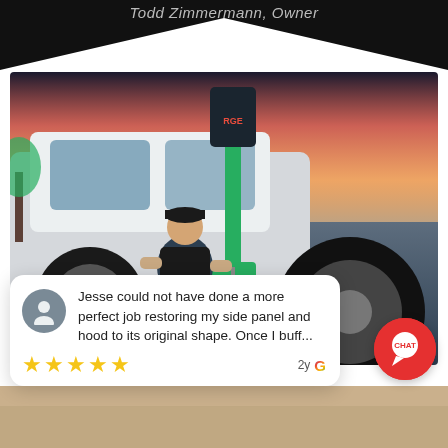Todd Zimmermann, Owner
[Figure (photo): Black triangle/chevron banner graphic at top of page]
[Figure (photo): Mechanic crouching next to white SUV working on wheel alignment with a green and black tool, dramatic sunset sky in background]
Jesse could not have done a more perfect job restoring my side panel and hood to its original shape. Once I buff...
[Figure (other): Five gold star rating with 2y Google review attribution]
[Figure (photo): Bottom strip showing partial image]
[Figure (other): Red circular chat button with CHAT label]